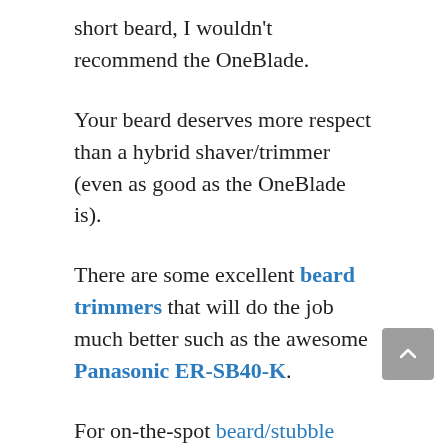short beard, I wouldn't recommend the OneBlade.
Your beard deserves more respect than a hybrid shaver/trimmer (even as good as the OneBlade is).
There are some excellent beard trimmers that will do the job much better such as the awesome Panasonic ER-SB40-K.
For on-the-spot beard/stubble maintenance, the OneBlade does a decent job.
What Is In The Box?